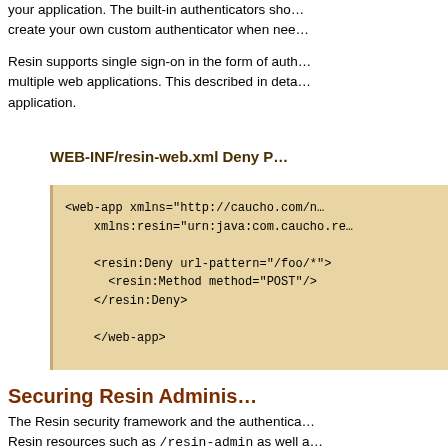your application. The built-in authenticators sho... create your own custom authenticator when nee...
Resin supports single sign-on in the form of aut... multiple web applications. This described in det... application.
WEB-INF/resin-web.xml Deny P
[Figure (screenshot): Code block showing XML configuration with web-app xmlns, xmlns:resin, resin:Deny url-pattern, resin:Method method=POST, and closing tags]
Securing Resin Adminis
The Resin security framework and the authentica... Resin resources such as /resin-admin as well a... features also needs to be secured. Resin internall...